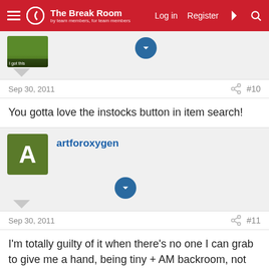The Break Room — Log in | Register
Sep 30, 2011  #10
You gotta love the instocks button in item search!
artforoxygen
Sep 30, 2011  #11
I'm totally guilty of it when there's no one I can grab to give me a hand, being tiny + AM backroom, not the best combination. Now that I'm on Instocks though.... well no wonder.
Hardlinesmaster